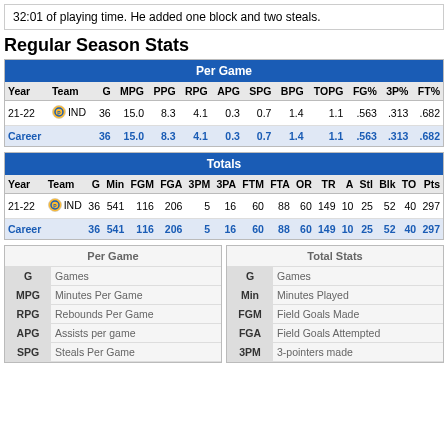32:01 of playing time. He added one block and two steals.
Regular Season Stats
| Year | Team | G | MPG | PPG | RPG | APG | SPG | BPG | TOPG | FG% | 3P% | FT% |
| --- | --- | --- | --- | --- | --- | --- | --- | --- | --- | --- | --- | --- |
| 21-22 | IND | 36 | 15.0 | 8.3 | 4.1 | 0.3 | 0.7 | 1.4 | 1.1 | .563 | .313 | .682 |
| Career |  | 36 | 15.0 | 8.3 | 4.1 | 0.3 | 0.7 | 1.4 | 1.1 | .563 | .313 | .682 |
| Year | Team | G | Min | FGM | FGA | 3PM | 3PA | FTM | FTA | OR | TR | A | Stl | Blk | TO | Pts |
| --- | --- | --- | --- | --- | --- | --- | --- | --- | --- | --- | --- | --- | --- | --- | --- | --- |
| 21-22 | IND | 36 | 541 | 116 | 206 | 5 | 16 | 60 | 88 | 60 | 149 | 10 | 25 | 52 | 40 | 297 |
| Career |  | 36 | 541 | 116 | 206 | 5 | 16 | 60 | 88 | 60 | 149 | 10 | 25 | 52 | 40 | 297 |
| Abbr | Definition |
| --- | --- |
| G | Games |
| MPG | Minutes Per Game |
| RPG | Rebounds Per Game |
| APG | Assists per game |
| SPG | Steals Per Game |
| Abbr | Definition |
| --- | --- |
| G | Games |
| Min | Minutes Played |
| FGM | Field Goals Made |
| FGA | Field Goals Attempted |
| 3PM | 3-pointers made |